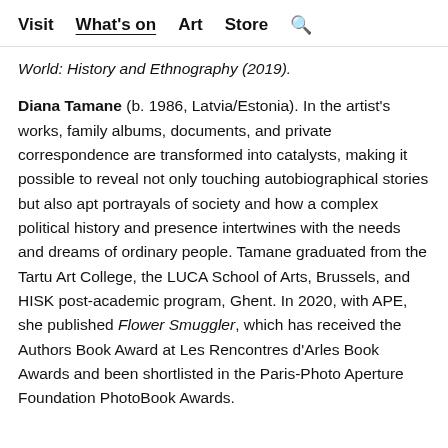Visit  What's on  Art  Store  🔍
World: History and Ethnography (2019).
Diana Tamane (b. 1986, Latvia/Estonia). In the artist's works, family albums, documents, and private correspondence are transformed into catalysts, making it possible to reveal not only touching autobiographical stories but also apt portrayals of society and how a complex political history and presence intertwines with the needs and dreams of ordinary people. Tamane graduated from the Tartu Art College, the LUCA School of Arts, Brussels, and HISK post-academic program, Ghent. In 2020, with APE, she published Flower Smuggler, which has received the Authors Book Award at Les Rencontres d'Arles Book Awards and been shortlisted in the Paris-Photo Aperture Foundation PhotoBook Awards.